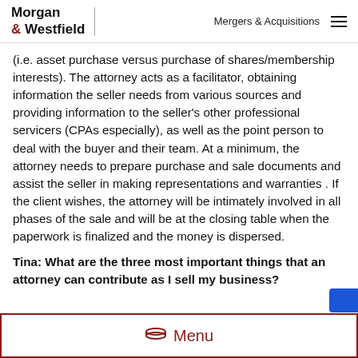Morgan & Westfield | Mergers & Acquisitions
(i.e. asset purchase versus purchase of shares/membership interests). The attorney acts as a facilitator, obtaining information the seller needs from various sources and providing information to the seller's other professional servicers (CPAs especially), as well as the point person to deal with the buyer and their team. At a minimum, the attorney needs to prepare purchase and sale documents and assist the seller in making representations and warranties . If the client wishes, the attorney will be intimately involved in all phases of the sale and will be at the closing table when the paperwork is finalized and the money is dispersed.
Tina: What are the three most important things that an attorney can contribute as I sell my business?
Menu